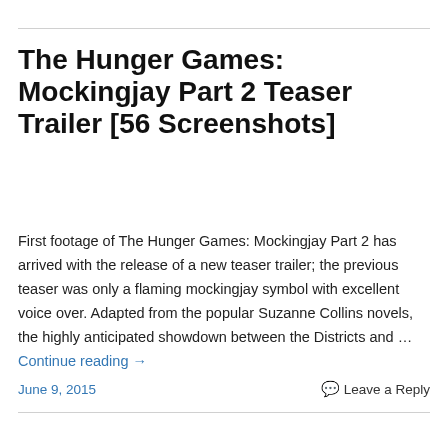The Hunger Games: Mockingjay Part 2 Teaser Trailer [56 Screenshots]
First footage of The Hunger Games: Mockingjay Part 2 has arrived with the release of a new teaser trailer; the previous teaser was only a flaming mockingjay symbol with excellent voice over. Adapted from the popular Suzanne Collins novels, the highly anticipated showdown between the Districts and … Continue reading →
June 9, 2015    Leave a Reply
New 'The Hunger Games: